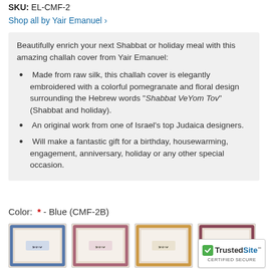SKU: EL-CMF-2
Shop all by Yair Emanuel >
Beautifully enrich your next Shabbat or holiday meal with this amazing challah cover from Yair Emanuel:
Made from raw silk, this challah cover is elegantly embroidered with a colorful pomegranate and floral design surrounding the Hebrew words "Shabbat VeYom Tov" (Shabbat and holiday).
An original work from one of Israel's top Judaica designers.
Will make a fantastic gift for a birthday, housewarming, engagement, anniversary, holiday or any other special occasion.
Color:  * - Blue (CMF-2B)
[Figure (photo): Four thumbnail images of challah covers in different colors]
[Figure (logo): TrustedSite Certified Secure badge]